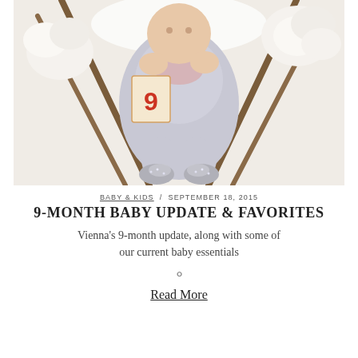[Figure (photo): Overhead view of a baby in a grey dress lying in a wicker bassinet surrounded by white flowers, with a number 9 milestone card, wearing sparkly shoes]
BABY & KIDS / SEPTEMBER 18, 2015
9-MONTH BABY UPDATE & FAVORITES
Vienna's 9-month update, along with some of our current baby essentials
Read More